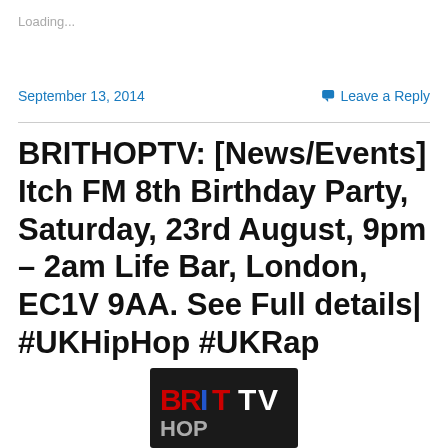Loading...
September 13, 2014
Leave a Reply
BRITHOPTV: [News/Events] Itch FM 8th Birthday Party, Saturday, 23rd August, 9pm – 2am Life Bar, London, EC1V 9AA. See Full details| #UKHipHop #UKRap
[Figure (logo): BRITHOPTV logo on dark background with BRIT in red/blue and TV in white letters]